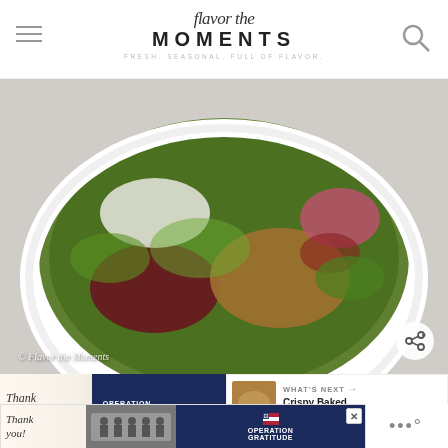Flavor the Moments — Fresh, Seasonal, Full of Flavor
[Figure (photo): A white bowl filled with salad greens, dried cranberries, pecans, bacon, red onion, and crumbled cheese, photographed from above on a white surface. Watermark reads '© Flavor the Moments']
WHAT'S NEXT → Crispy Baked Zucchini...
[Figure (photo): Advertisement banner: 'Thank you' text with American flag design elements and 'Operation Gratitude' text on dark blue background, featuring people in masks holding packages]
[Figure (photo): Second advertisement banner: 'Thank you' handwritten style with flag graphic and 'Operation Gratitude' logo, showing firefighters in front of fire truck]